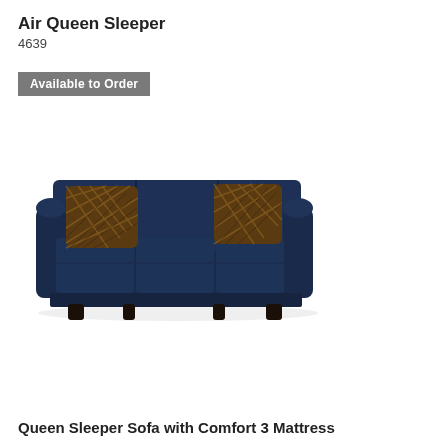Air Queen Sleeper
4639
Available to Order
[Figure (photo): A navy blue queen sleeper sofa with three cushions and two decorative patterned throw pillows in brown/gold tones, featuring rolled arms and dark wooden legs.]
Queen Sleeper Sofa with Comfort 3 Mattress